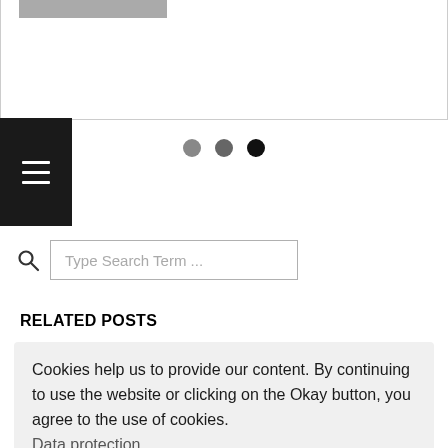[Figure (photo): Partial view of a photo at the top of the page, showing a grey/dark image partially cropped, inside a bordered card area.]
[Figure (infographic): Three horizontal dots (pagination indicators): light grey, medium grey, dark/black — centered on the page.]
[Figure (screenshot): Black hamburger menu button on the left side with three white horizontal lines.]
[Figure (screenshot): Search bar with magnifying glass icon and placeholder text 'Type Search Term ...']
RELATED POSTS
Cookies help us to provide our content. By continuing to use the website or clicking on the Okay button, you agree to the use of cookies.
Data protection
reject cookies
Cookies erlauben